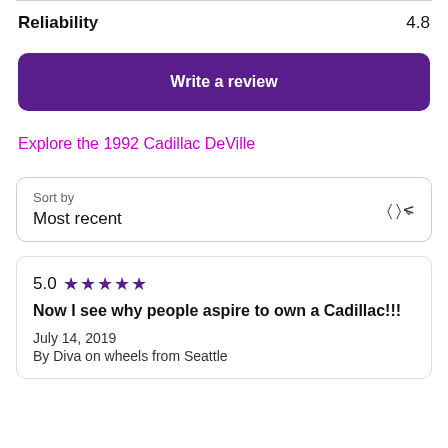Reliability  4.8
Write a review
Explore the 1992 Cadillac DeVille
Sort by
Most recent
5.0 ★★★★★
Now I see why people aspire to own a Cadillac!!!
July 14, 2019
By Diva on wheels from Seattle